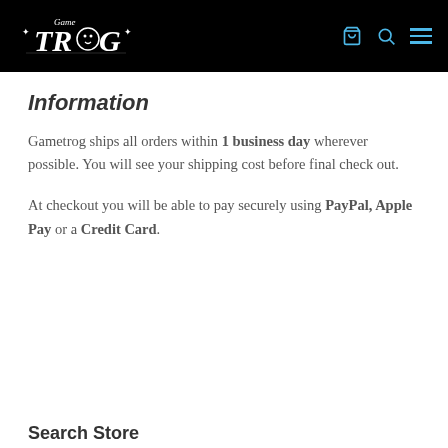Game Trog — navigation header with logo, cart, search, and menu icons
Information
Gametrog ships all orders within 1 business day wherever possible. You will see your shipping cost before final check out.
At checkout you will be able to pay securely using PayPal, Apple Pay or a Credit Card.
Search Store